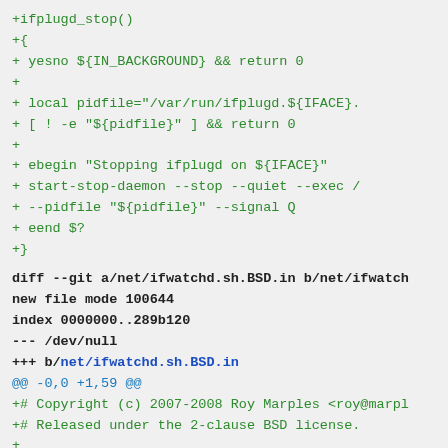+ifplugd_stop()
+{
+        yesno ${IN_BACKGROUND} && return 0
+
+        local pidfile="/var/run/ifplugd.${IFACE}.
+        [ ! -e "${pidfile}" ] && return 0
+
+        ebegin "Stopping ifplugd on ${IFACE}"
+        start-stop-daemon --stop --quiet --exec /
+                --pidfile "${pidfile}" --signal Q
+        eend $?
+}
diff --git a/net/ifwatchd.sh.BSD.in b/net/ifwatch
new file mode 100644
index 0000000..289b120
--- /dev/null
+++ b/net/ifwatchd.sh.BSD.in
@@ -0,0 +1,59 @@
+# Copyright (c) 2007-2008 Roy Marples <roy@marpl
+# Released under the 2-clause BSD license.
+